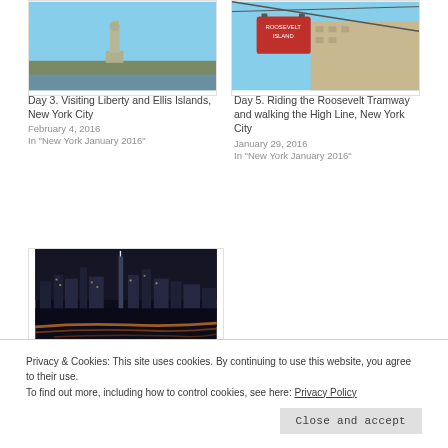[Figure (photo): Statue of Liberty against clear blue sky, with trees and water visible]
Day 3. Visiting Liberty and Ellis Islands, New York City
February 4, 2016
In "New York January 2016"
[Figure (photo): Roosevelt Island Tramway cable car gondola against blue sky with buildings in background]
Day 5. Riding the Roosevelt Tramway and walking the High Line, New York City
January 29, 2016
In "New York January 2016"
[Figure (photo): New York City skyline at night with light trails from traffic]
Privacy & Cookies: This site uses cookies. By continuing to use this website, you agree to their use.
To find out more, including how to control cookies, see here: Privacy Policy
Close and accept